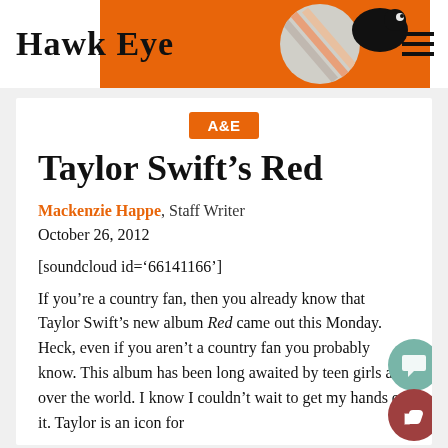Hawk Eye
A&E
Taylor Swift's Red
Mackenzie Happe, Staff Writer
October 26, 2012
[soundcloud id='66141166']
If you're a country fan, then you already know that Taylor Swift's new album Red came out this Monday. Heck, even if you aren't a country fan you probably know. This album has been long awaited by teen girls all over the world. I know I couldn't wait to get my hands on it. Taylor is an icon for